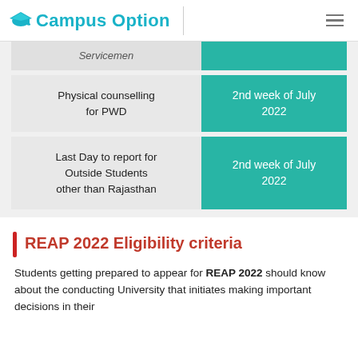Campus Option
| Event | Date |
| --- | --- |
| Servicemen |  |
| Physical counselling for PWD | 2nd week of July 2022 |
| Last Day to report for Outside Students other than Rajasthan | 2nd week of July 2022 |
REAP 2022 Eligibility criteria
Students getting prepared to appear for REAP 2022 should know about the conducting University that initiates making important decisions in their